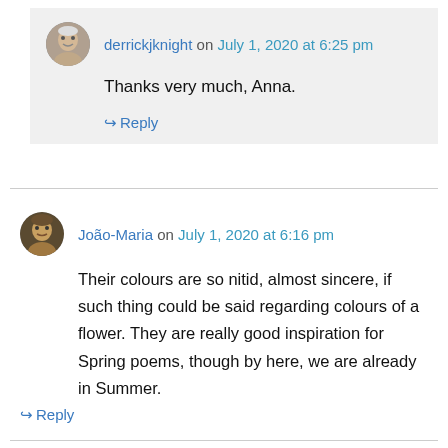derrickjknight on July 1, 2020 at 6:25 pm
Thanks very much, Anna.
Reply
João-Maria on July 1, 2020 at 6:16 pm
Their colours are so nitid, almost sincere, if such thing could be said regarding colours of a flower. They are really good inspiration for Spring poems, though by here, we are already in Summer.
Reply